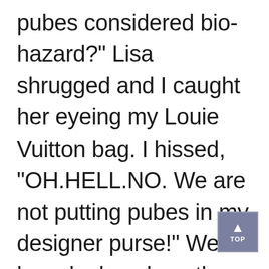pubes considered bio-hazard?" Lisa shrugged and I caught her eyeing my Louie Vuitton bag. I hissed, “OH.HELL.NO. We are not putting pubes in my designer purse!" We heard a knock on the door and quickly sho...